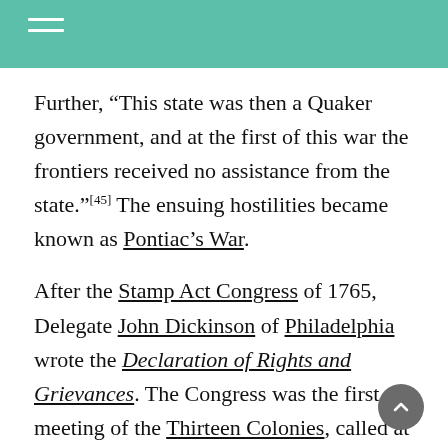Further, "This state was then a Quaker government, and at the first of this war the frontiers received no assistance from the state."[45] The ensuing hostilities became known as Pontiac's War.
After the Stamp Act Congress of 1765, Delegate John Dickinson of Philadelphia wrote the Declaration of Rights and Grievances. The Congress was the first meeting of the Thirteen Colonies, called at the request of the Massachusetts Assembly, but only nine colonies sent delegates.[46] Dickinson then wrote Letters from a Farmer...